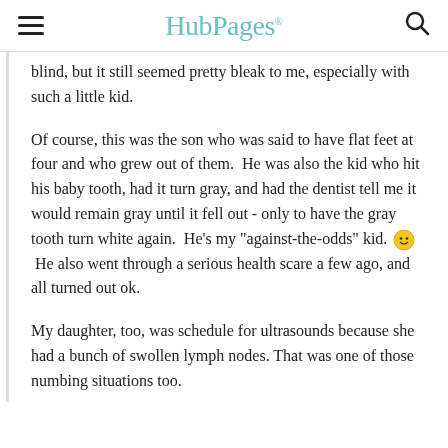HubPages
blind, but it still seemed pretty bleak to me, especially with such a little kid.
Of course, this was the son who was said to have flat feet at four and who grew out of them.  He was also the kid who hit his baby tooth, had it turn gray, and had the dentist tell me it would remain gray until it fell out - only to have the gray tooth turn white again.  He's my "against-the-odds" kid. 🙂  He also went through a serious health scare a few ago, and all turned out ok.
My daughter, too, was schedule for ultrasounds because she had a bunch of swollen lymph nodes. That was one of those numbing situations too.